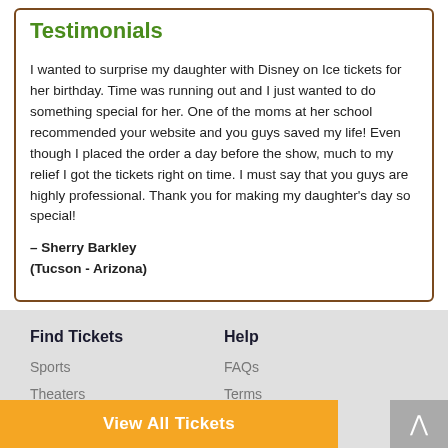Testimonials
I wanted to surprise my daughter with Disney on Ice tickets for her birthday. Time was running out and I just wanted to do something special for her. One of the moms at her school recommended your website and you guys saved my life! Even though I placed the order a day before the show, much to my relief I got the tickets right on time. I must say that you guys are highly professional. Thank you for making my daughter’s day so special!
– Sherry Barkley
(Tucson - Arizona)
Find Tickets
Sports
Theaters
Concerts
Cities
Help
FAQs
Terms
Policy
View All Tickets